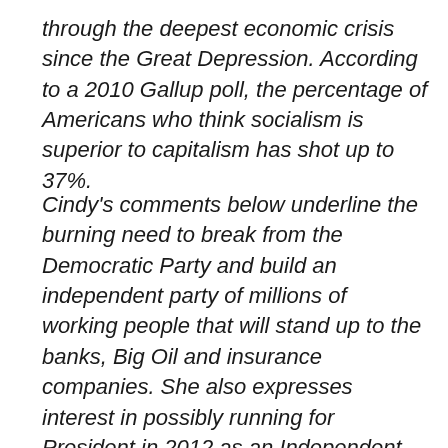through the deepest economic crisis since the Great Depression. According to a 2010 Gallup poll, the percentage of Americans who think socialism is superior to capitalism has shot up to 37%.
Cindy's comments below underline the burning need to break from the Democratic Party and build an independent party of millions of working people that will stand up to the banks, Big Oil and insurance companies. She also expresses interest in possibly running for President in 2012 as an Independent. These positive developments highlight the need for left-wing forces to run independent candidates in the 2010 elections and